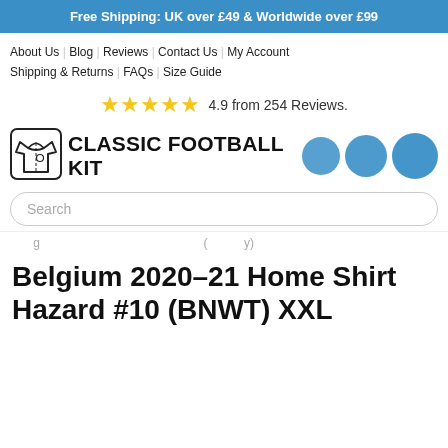Free Shipping: UK over £49 & Worldwide over £99
About Us | Blog | Reviews | Contact Us | My Account | Shipping & Returns | FAQs | Size Guide
4.9 from 254 Reviews.
[Figure (logo): Classic Football Kit logo with shirt icon and three blue circles]
Search
breadcrumb partial
Belgium 2020-21 Home Shirt Hazard #10 (BNWT) XXL